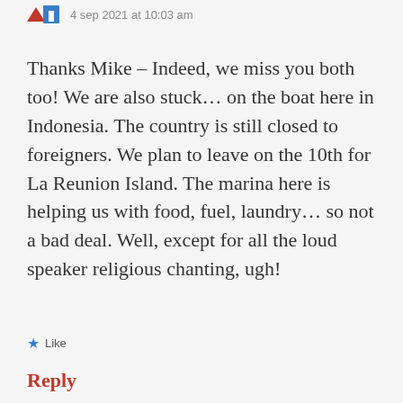4 sep 2021 at 10:03 am
Thanks Mike – Indeed, we miss you both too! We are also stuck… on the boat here in Indonesia. The country is still closed to foreigners. We plan to leave on the 10th for La Reunion Island. The marina here is helping us with food, fuel, laundry… so not a bad deal. Well, except for all the loud speaker religious chanting, ugh!
Like
Reply